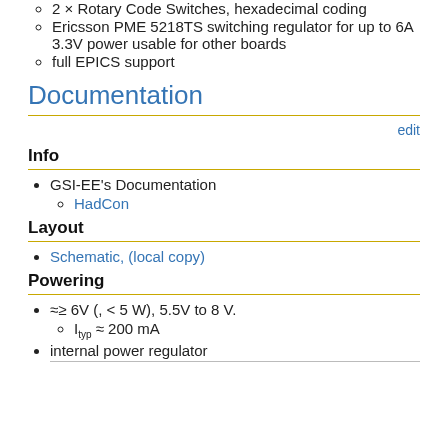2 × Rotary Code Switches, hexadecimal coding
Ericsson PME 5218TS switching regulator for up to 6A 3.3V power usable for other boards
full EPICS support
Documentation
edit
Info
GSI-EE's Documentation
HadCon
Layout
Schematic, (local copy)
Powering
≈≥ 6V (, < 5 W), 5.5V to 8 V.
Ityp ≈ 200 mA
internal power regulator